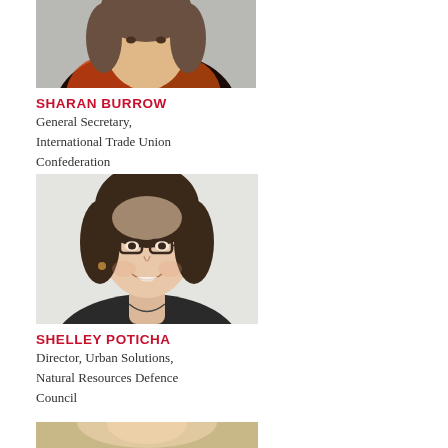[Figure (photo): Headshot photo of Sharan Burrow, partially cropped at top, woman wearing colorful orange/red jacket]
SHARAN BURROW
General Secretary, International Trade Union Confederation
[Figure (photo): Headshot photo of Shelley Poticha, woman with curly dark hair and glasses, smiling]
SHELLEY POTICHA
Director, Urban Solutions, Natural Resources Defence Council
[Figure (photo): Partial headshot photo of a third person, cropped at bottom of page]